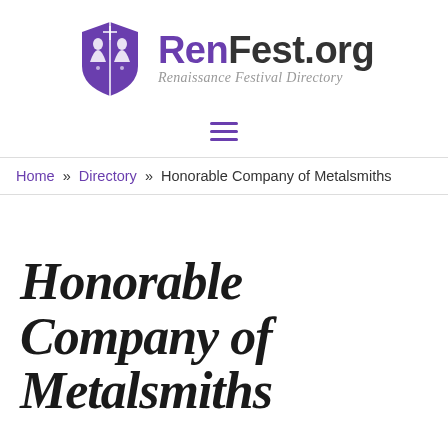[Figure (logo): RenFest.org logo with purple shield containing two figures and the text RenFest.org with subtitle Renaissance Festival Directory]
≡
Home » Directory » Honorable Company of Metalsmiths
Honorable Company of Metalsmiths